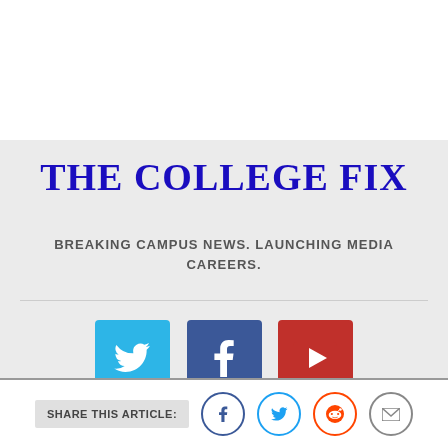THE COLLEGE FIX
BREAKING CAMPUS NEWS. LAUNCHING MEDIA CAREERS.
[Figure (logo): Social media icons: Twitter (blue square), Facebook (dark blue square), YouTube (red square)]
POWERED BY THE
SHARE THIS ARTICLE: